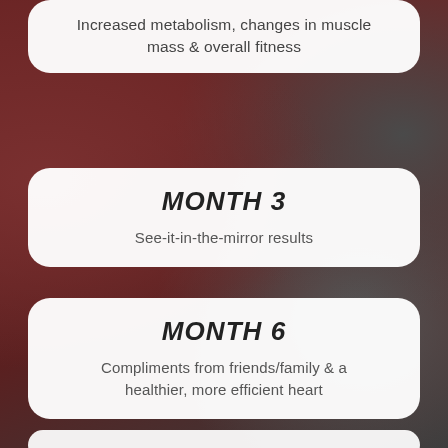Increased metabolism, changes in muscle mass & overall fitness
MONTH 3
See-it-in-the-mirror results
MONTH 6
Compliments from friends/family & a healthier, more efficient heart